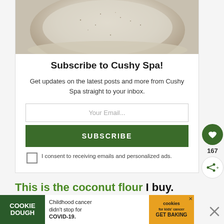[Figure (photo): Close-up photo of a speckled ceramic bowl on a plate, partially cropped at top]
Subscribe to Cushy Spa!
Get updates on the latest posts and more from Cushy Spa straight to your inbox.
Your Email...
SUBSCRIBE
I consent to receiving emails and personalized ads.
This is the coconut flour I buy.
[Figure (screenshot): Cookie Dough advertisement banner: 'Childhood cancer didn't stop for COVID-19. GET BAKING' with cookies for kids cancer logo]